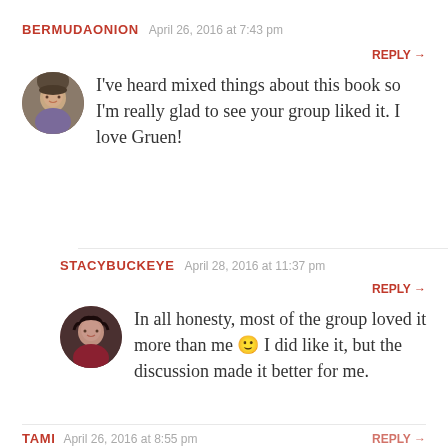BERMUDAONION   April 26, 2016 at 7:43 pm
REPLY →
I've heard mixed things about this book so I'm really glad to see your group liked it. I love Gruen!
STACYBUCKEYE   April 28, 2016 at 11:37 pm
REPLY →
In all honesty, most of the group loved it more than me 🙂 I did like it, but the discussion made it better for me.
TAMI   April 26, 2016 at 8:55 pm   REPLY →